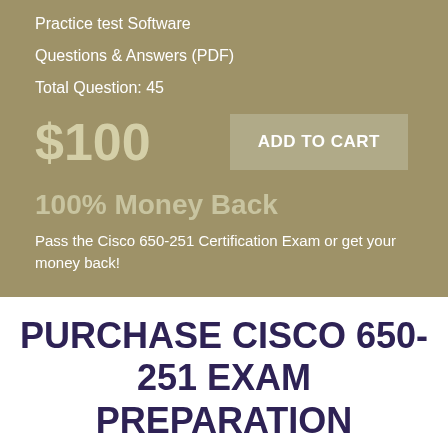Practice test Software
Questions & Answers (PDF)
Total Question: 45
$100
ADD TO CART
100% Money Back
Pass the Cisco 650-251 Certification Exam or get your money back!
PURCHASE CISCO 650-251 EXAM PREPARATION PRODUCTS INDIVIDUALLY